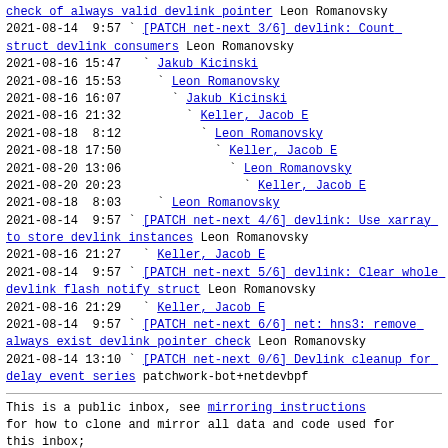check of always valid devlink pointer Leon Romanovsky
2021-08-14  9:57 ` [PATCH net-next 3/6] devlink: Count struct devlink consumers Leon Romanovsky
2021-08-16 15:47   ` Jakub Kicinski
2021-08-16 15:53     ` Leon Romanovsky
2021-08-16 16:07       ` Jakub Kicinski
2021-08-16 21:32         ` Keller, Jacob E
2021-08-18  8:12           ` Leon Romanovsky
2021-08-18 17:50             ` Keller, Jacob E
2021-08-20 13:06               ` Leon Romanovsky
2021-08-20 20:23                 ` Keller, Jacob E
2021-08-18  8:03     ` Leon Romanovsky
2021-08-14  9:57 ` [PATCH net-next 4/6] devlink: Use xarray to store devlink instances Leon Romanovsky
2021-08-16 21:27   ` Keller, Jacob E
2021-08-14  9:57 ` [PATCH net-next 5/6] devlink: Clear whole devlink flash notify struct Leon Romanovsky
2021-08-16 21:29   ` Keller, Jacob E
2021-08-14  9:57 ` [PATCH net-next 6/6] net: hns3: remove always exist devlink pointer check Leon Romanovsky
2021-08-14 13:10 ` [PATCH net-next 0/6] Devlink cleanup for delay event series patchwork-bot+netdevbpf
This is a public inbox, see mirroring instructions for how to clone and mirror all data and code used for this inbox;
as well as URLs for NNTP newsgroup(s).